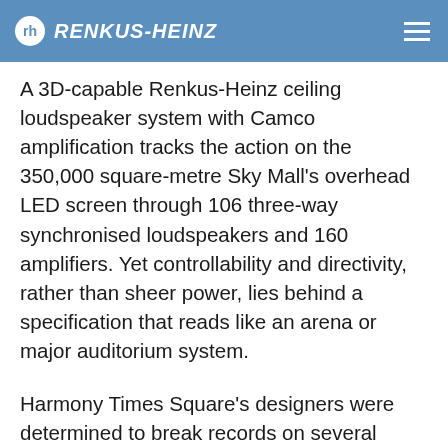RENKUS-HEINZ
A 3D-capable Renkus-Heinz ceiling loudspeaker system with Camco amplification tracks the action on the 350,000 square-metre Sky Mall's overhead LED screen through 106 three-way synchronised loudspeakers and 160 amplifiers. Yet controllability and directivity, rather than sheer power, lies behind a specification that reads like an arena or major auditorium system.
Harmony Times Square's designers were determined to break records on several fronts – and succeeded. Until late 2008, Beijing's World Trade Center held the title for China's largest LED Skydome, measuring 250 meters